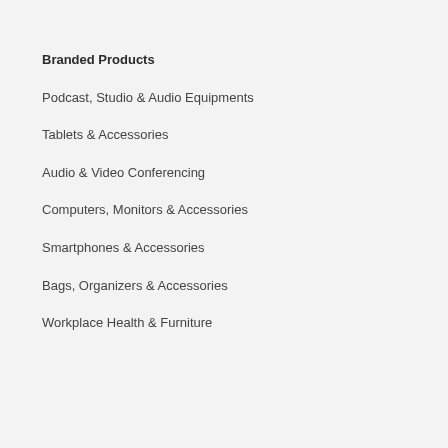Branded Products
Podcast, Studio & Audio Equipments
Tablets & Accessories
Audio & Video Conferencing
Computers, Monitors & Accessories
Smartphones & Accessories
Bags, Organizers & Accessories
Workplace Health & Furniture